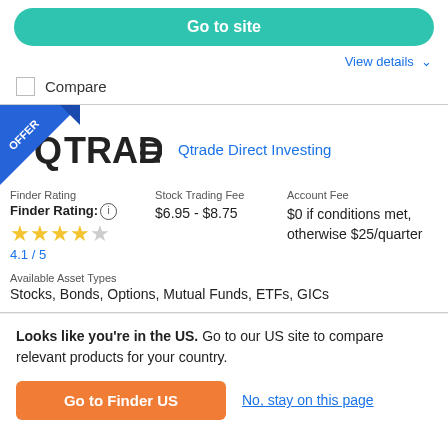Go to site
View details ▾
Compare
[Figure (logo): Qtrade logo with blue OFFER ribbon in top-left corner]
Qtrade Direct Investing
Finder Rating
Finder Rating: ⓘ ★★★★☆ 4.1 / 5
Stock Trading Fee
$6.95 - $8.75
Account Fee
$0 if conditions met, otherwise $25/quarter
Available Asset Types
Stocks, Bonds, Options, Mutual Funds, ETFs, GICs
Looks like you're in the US. Go to our US site to compare relevant products for your country.
Go to Finder US
No, stay on this page